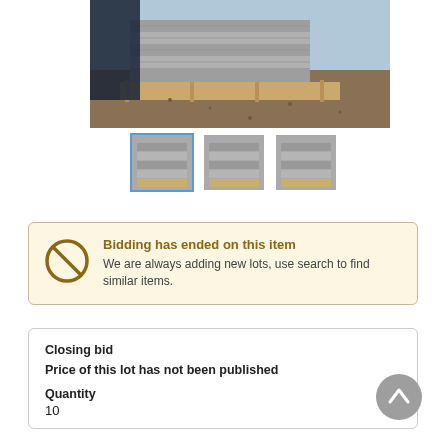[Figure (photo): Main photo of concrete/stone slabs stacked on wooden pallets outdoors on gravel ground]
[Figure (photo): Three thumbnail images of concrete/stone slabs, first one selected with blue border]
Bidding has ended on this item
We are always adding new lots, use search to find similar items.
Closing bid
Price of this lot has not been published
Quantity
10